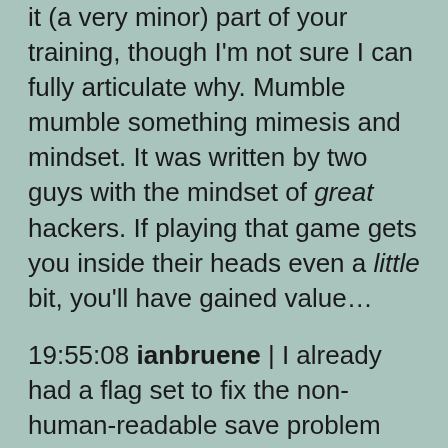it (a very minor) part of your training, though I'm not sure I can fully articulate why. Mumble mumble something mimesis and mindset. It was written by two guys with the mindset of great hackers. If playing that game gets you inside their heads even a little bit, you'll have gained value…
19:55:08 ianbruene | I already had a flag set to fix the non-human-readable save problem someday, if no one else got to it first. Kind of hard to do that without playing at least *some* of the game.
19:55:15 esr | :-)